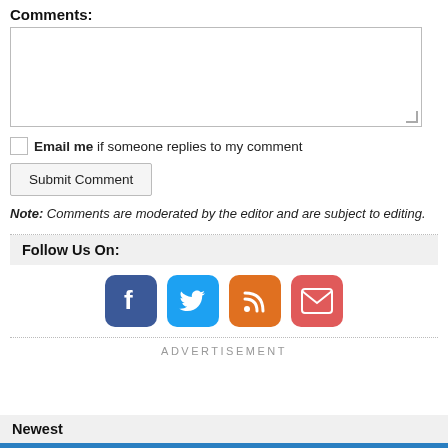Comments:
[Figure (other): Empty text area input box for comments with resize handle in bottom-right corner]
Email me if someone replies to my comment
Submit Comment
Note: Comments are moderated by the editor and are subject to editing.
Follow Us On:
[Figure (other): Social media icons: Facebook (blue), Twitter (light blue), RSS (orange), Email/Mail (red-orange)]
ADVERTISEMENT
Newest